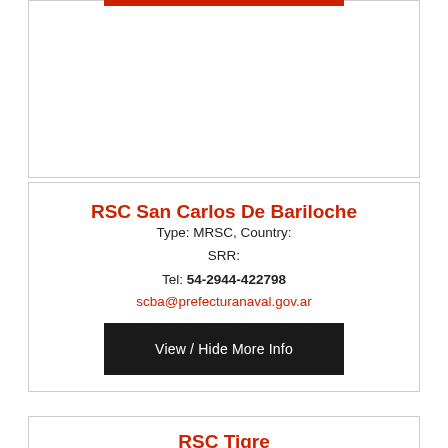RSC San Carlos De Bariloche
Type: MRSC, Country:
SRR:
Tel: 54-2944-422798
scba@prefecturanaval.gov.ar
View / Hide More Info
RSC Tigre